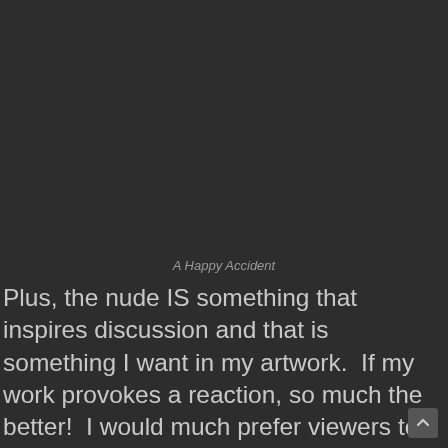A Happy Accident
Plus, the nude IS something that inspires discussion and that is something I want in my artwork.  If my work provokes a reaction, so much the better!  I would much prefer viewers to talk and think about my art, even if they don't like it, than to have my work fall into the pile of similarity that is the internet.  Finally, for as many photographs as have been made of the human body,